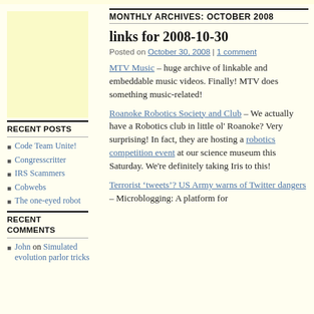[Figure (other): Yellow/cream colored advertisement block in sidebar]
RECENT POSTS
Code Team Unite!
Congresscritter
IRS Scammers
Cobwebs
The one-eyed robot
RECENT COMMENTS
John on Simulated evolution parlor tricks
MONTHLY ARCHIVES: OCTOBER 2008
links for 2008-10-30
Posted on October 30, 2008 | 1 comment
MTV Music – huge archive of linkable and embeddable music videos. Finally! MTV does something music-related!
Roanoke Robotics Society and Club – We actually have a Robotics club in little ol' Roanoke? Very surprising! In fact, they are hosting a robotics competition event at our science museum this Saturday. We're definitely taking Iris to this!
Terrorist 'tweets'? US Army warns of Twitter dangers – Microblogging: A platform for